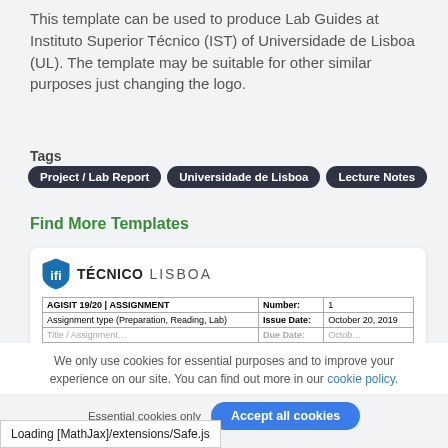This template can be used to produce Lab Guides at Instituto Superior Técnico (IST) of Universidade de Lisboa (UL). The template may be suitable for other similar purposes just changing the logo.
Tags
Project / Lab Report
Universidade de Lisboa
Lecture Notes
Find More Templates
[Figure (screenshot): Preview of a Técnico Lisboa lab guide template showing the institution logo and a table with fields: AGISIT 19/20 ASSIGNMENT, Number: 1, Assignment type (Preparation, Reading, Lab), Issue Date: October 20, 2019]
We only use cookies for essential purposes and to improve your experience on our site. You can find out more in our cookie policy.
Essential cookies only   Accept all cookies
Loading [MathJax]/extensions/Safe.js